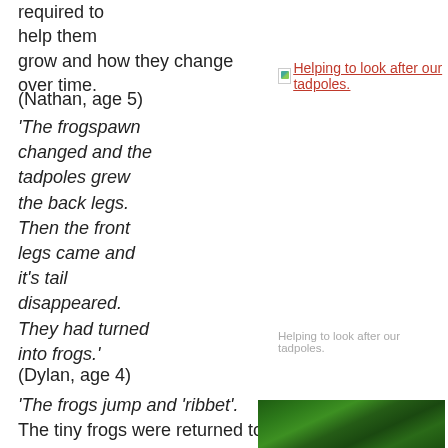required to help them grow and how they change over time.
(Nathan, age 5)
[Figure (photo): Link placeholder image with text: Helping to look after our tadpoles.]
'The frogspawn changed and the tadpoles grew the back legs. Then the front legs came and it's tail disappeared. They had turned into frogs.'
Helping to look after our tadpoles.
(Dylan, age 4)
'The frogs jump and 'ribbet'.
The tiny frogs were returned to the pond.
[Figure (photo): Photo of green plants/frogs in a pond environment]